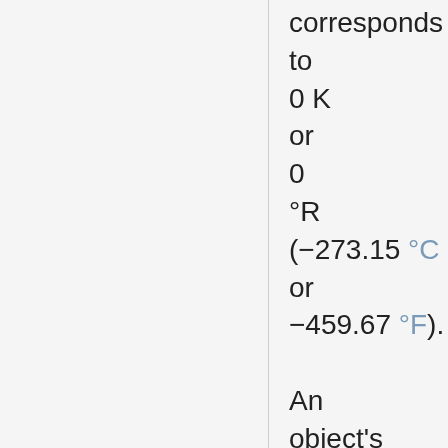corresponds to 0 K or 0 °R (−273.15 °C or −459.67 °F). An object's absolute temperature therefore describes